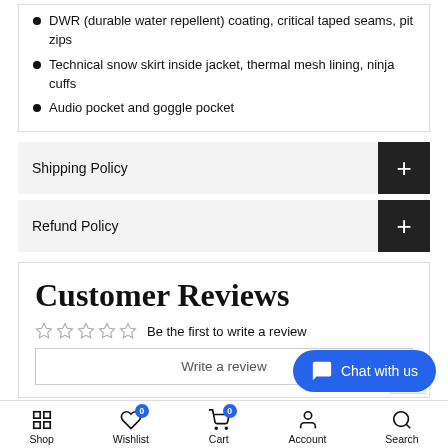DWR (durable water repellent) coating, critical taped seams, pit zips
Technical snow skirt inside jacket, thermal mesh lining, ninja cuffs
Audio pocket and goggle pocket
Shipping Policy
Refund Policy
Customer Reviews
Be the first to write a review
Write a review
Chat with us
Shop   Wishlist   Cart   Account   Search